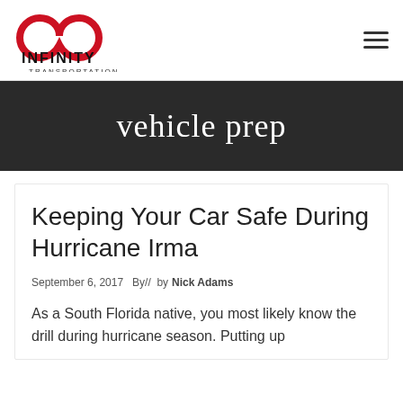Infinity Transportation [logo] [hamburger menu]
vehicle prep
Keeping Your Car Safe During Hurricane Irma
September 6, 2017  By//  by Nick Adams
As a South Florida native, you most likely know the drill during hurricane season. Putting up